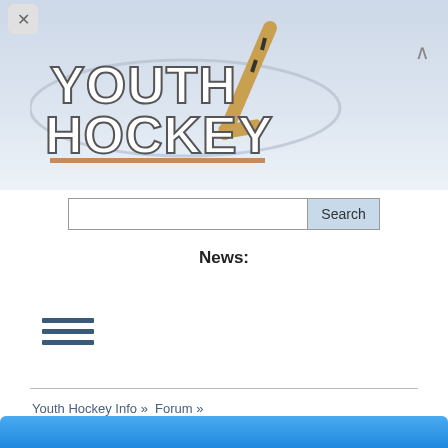[Figure (logo): Youth Hockey website logo with hockey stick and swoosh graphic]
Search
News:
[Figure (other): Hamburger menu icon with three horizontal lines]
Youth Hockey Info »  Forum »  Eastern United States Youth Hockey »  SHSHL »  South Eastern PA High School Hockey Classics »  SHSHL Game 26: Souderton Indians vs Pennsbury Falcons 11 1